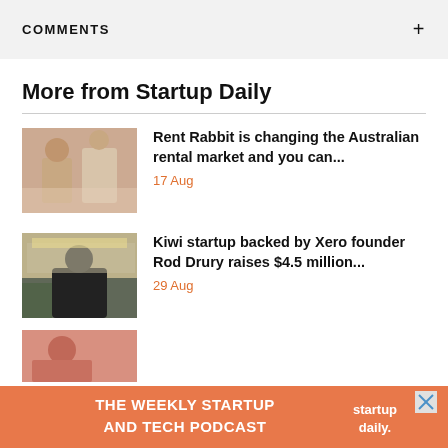COMMENTS
More from Startup Daily
[Figure (photo): Two people sitting on stairs in a bright room]
Rent Rabbit is changing the Australian rental market and you can...
17 Aug
[Figure (photo): Man in black shirt standing in a modern office]
Kiwi startup backed by Xero founder Rod Drury raises $4.5 million...
29 Aug
[Figure (photo): Woman with red hair partial view]
[Figure (infographic): Orange banner ad: THE WEEKLY STARTUP AND TECH PODCAST with startup daily logo]